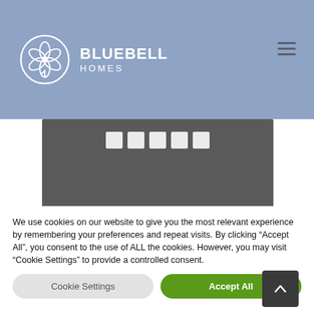[Figure (logo): Bluebell Homes logo with circular flower/leaf emblem and text BLUEBELL HOMES]
[Figure (photo): Dark gray hero/banner image area with white slider bar indicators at top]
[Figure (logo): Bluebell circular badge logo with blue background]
OPEN TO VIEW
We use cookies on our website to give you the most relevant experience by remembering your preferences and repeat visits. By clicking "Accept All", you consent to the use of ALL the cookies. However, you may visit "Cookie Settings" to provide a controlled consent.
Cookie Settings
Accept All